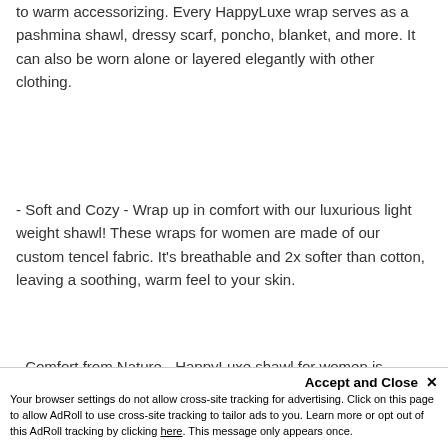to warm accessorizing. Every HappyLuxe wrap serves as a pashmina shawl, dressy scarf, poncho, blanket, and more. It can also be worn alone or layered elegantly with other clothing.
- Soft and Cozy - Wrap up in comfort with our luxurious light weight shawl! These wraps for women are made of our custom tencel fabric. It's breathable and 2x softer than cotton, leaving a soothing, warm feel to your skin.
- Comfort from Nature - HappyLuxe shawl for women is created using natural fibers ethically derived from trees. This fabric has UPF 50+ sun shield and moisture-wicking properties. It also does not contain allergens, and it saves your skin from dryness.
Accept and Close ✕
Your browser settings do not allow cross-site tracking for advertising. Click on this page to allow AdRoll to use cross-site tracking to tailor ads to you. Learn more or opt out of this AdRoll tracking by clicking here. This message only appears once.